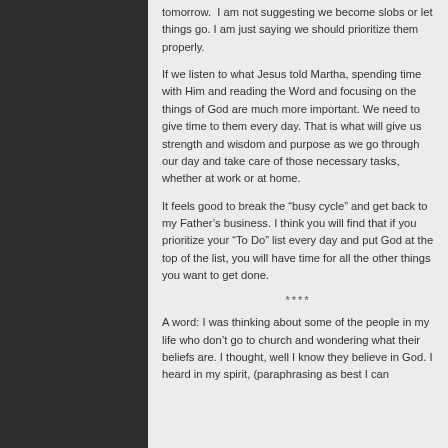tomorrow.  I am not suggesting we become slobs or let things go. I am just saying we should prioritize them properly.
If we listen to what Jesus told Martha, spending time with Him and reading the Word and focusing on the things of God are much more important. We need to give time to them every day. That is what will give us strength and wisdom and purpose as we go through our day and take care of those necessary tasks, whether at work or at home.
It feels good to break the “busy cycle” and get back to my Father’s business. I think you will find that if you prioritize your “To Do” list every day and put God at the top of the list, you will have time for all the other things you want to get done.
****
A word: I was thinking about some of the people in my life who don’t go to church and wondering what their beliefs are. I thought, well I know they believe in God. I heard in my spirit, (paraphrasing as best I can